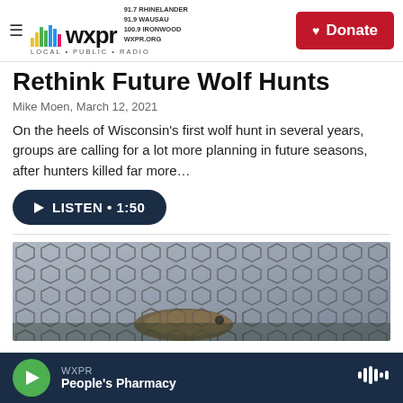WXPR LOCAL • PUBLIC • RADIO | 91.7 RHINELANDER 91.9 WAUSAU 100.9 IRONWOOD WXPR.ORG | Donate
Rethink Future Wolf Hunts
Mike Moen,  March 12, 2021
On the heels of Wisconsin's first wolf hunt in several years, groups are calling for a lot more planning in future seasons, after hunters killed far more…
[Figure (other): Listen audio button with play icon, text: LISTEN • 1:50]
[Figure (photo): Close-up photo of a fish caught in a net, black hexagonal mesh netting with a fish visible in lower center]
WXPR | People's Pharmacy